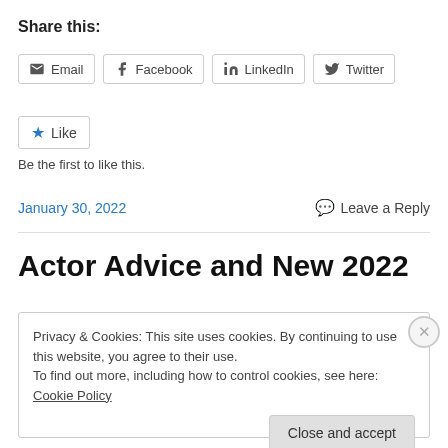Share this:
Email  Facebook  LinkedIn  Twitter
★ Like
Be the first to like this.
January 30, 2022   Leave a Reply
Actor Advice and New 2022
Privacy & Cookies: This site uses cookies. By continuing to use this website, you agree to their use.
To find out more, including how to control cookies, see here: Cookie Policy
Close and accept